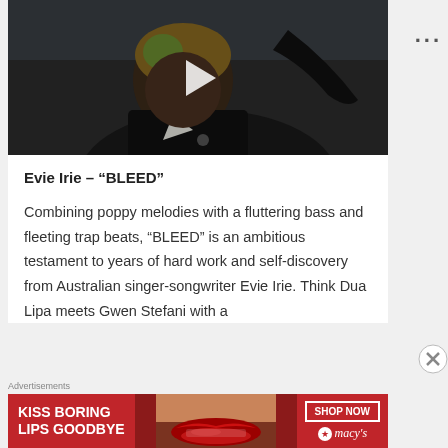[Figure (screenshot): Video thumbnail showing a person with short hair looking down, wearing a dark jacket. A white play button triangle is overlaid in the center.]
Evie Irie – “BLEED”
Combining poppy melodies with a fluttering bass and fleeting trap beats, “BLEED” is an ambitious testament to years of hard work and self-discovery from Australian singer-songwriter Evie Irie. Think Dua Lipa meets Gwen Stefani with a
[Figure (advertisement): Macy's advertisement banner with red background. Left text: KISS BORING LIPS GOODBYE. Center shows a woman's face with red lips. Right side has SHOP NOW button and Macy's star logo.]